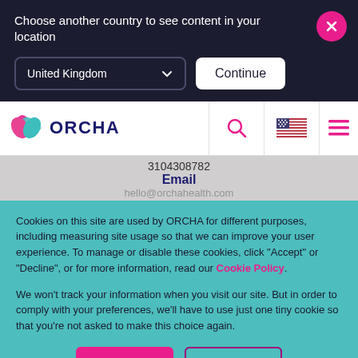Choose another country to see content in your location
[Figure (screenshot): Country selector dropdown showing 'United Kingdom' with chevron icon]
Continue
[Figure (logo): ORCHA logo with pink and teal leaf icon]
3104308782
Email
hello@orchahealth.com
Cookies on this site are used by ORCHA for different purposes, including measuring site usage so that we can improve your user experience. To manage or disable these cookies, click "Accept" or "Decline", or for more information, read our Cookie Policy.
We won't track your information when you visit our site. But in order to comply with your preferences, we'll have to use just one tiny cookie so that you're not asked to make this choice again.
Accept
Decline